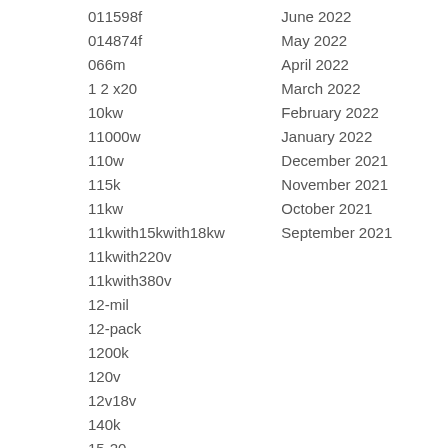011598f
014874f
066m
1 2 x20
10kw
11000w
110w
115k
11kw
11kwith15kwith18kw
11kwith220v
11kwith380v
12-mil
12-pack
1200k
120v
12v18v
140k
15-20
June 2022
May 2022
April 2022
March 2022
February 2022
January 2022
December 2021
November 2021
October 2021
September 2021